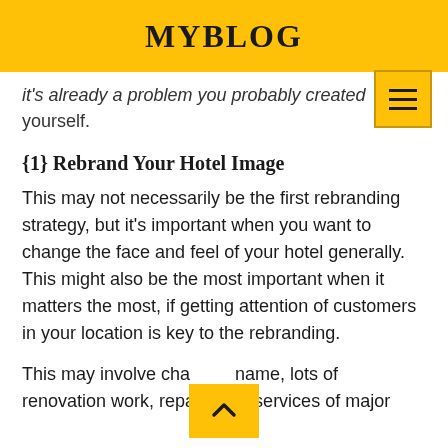MYBLOG
it's already a problem you probably created yourself.
{1} Rebrand Your Hotel Image
This may not necessarily be the first rebranding strategy, but it's important when you want to change the face and feel of your hotel generally. This might also be the most important when it matters the most, if getting attention of customers in your location is key to the rebranding.
This may involve cha name, lots of renovation work, repairs and services of major